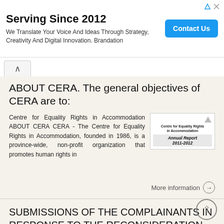[Figure (infographic): Advertisement banner: 'Serving Since 2012' with subtitle 'We Translate Your Voice And Ideas Through Strategy, Creativity And Digital Innovation. Brandation' and a blue 'Contact Us' button]
ABOUT CERA. The general objectives of CERA are to:
Centre for Equality Rights in Accommodation ABOUT CERA CERA - The Centre for Equality Rights in Accommodation, founded in 1986, is a province-wide, non-profit organization that promotes human rights in
[Figure (logo): Centre for Equality Rights in Accommodation Annual Report 2011-2012 logo/cover image]
More information →
SUBMISSIONS OF THE COMPLAINANTS IN RESPONSE TO THE RECONSIDERATION REPORT